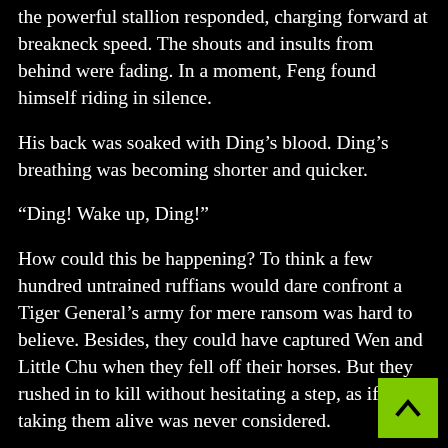the powerful stallion responded, charging forward at breakneck speed. The shouts and insults from behind were fading. In a moment, Feng found himself riding in silence.
His back was soaked with Ding’s blood. Ding’s breathing was becoming shorter and quicker.
“Ding! Wake up, Ding!”
How could this be happening? To think a few hundred untrained ruffians would dare confront a Tiger General’s army for mere ransom was hard to believe. Besides, they could have captured Wen and Little Chu when they fell off their horses. But they rushed in to kill without hesitating a step, as if taking them alive was never considered.
Feng felt a squeezing pain in his chest at the thought of Wen and Chu. They were gone. They were drinking and laughing and bickering only last night, and now they were gone.